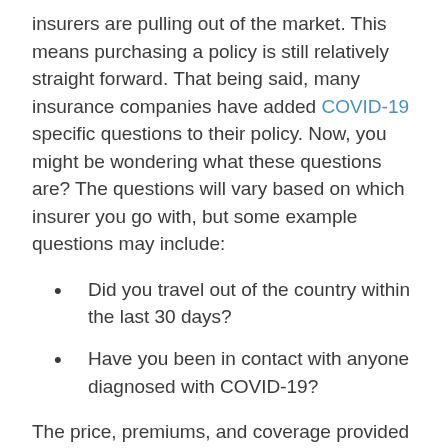insurers are pulling out of the market. This means purchasing a policy is still relatively straight forward. That being said, many insurance companies have added COVID-19 specific questions to their policy. Now, you might be wondering what these questions are? The questions will vary based on which insurer you go with, but some example questions may include:
Did you travel out of the country within the last 30 days?
Have you been in contact with anyone diagnosed with COVID-19?
The price, premiums, and coverage provided by a life insurance policy will vary from provider to provider, so it's crucial to contact an agent at James Little